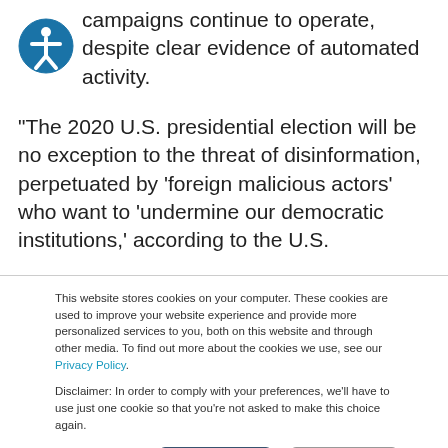campaigns continue to operate, despite clear evidence of automated activity.
“The 2020 U.S. presidential election will be no exception to the threat of disinformation, perpetuated by ‘foreign malicious actors’ who want to ‘undermine our democratic institutions,’ according to the U.S.
This website stores cookies on your computer. These cookies are used to improve your website experience and provide more personalized services to you, both on this website and through other media. To find out more about the cookies we use, see our Privacy Policy.
Disclaimer: In order to comply with your preferences, we’ll have to use just one cookie so that you’re not asked to make this choice again.
Cookie Settings | Accept | Decline